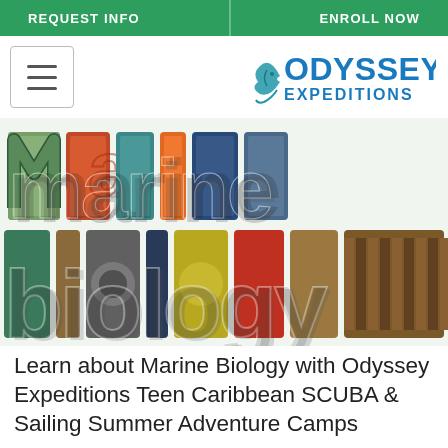REQUEST INFO   ENROLL NOW
[Figure (logo): Odyssey Expeditions logo with fish illustration and blue text]
[Figure (illustration): Marine biology text formed from colorful underwater fish and sea creature photographs filling each letter]
Learn about Marine Biology with Odyssey Expeditions Teen Caribbean SCUBA & Sailing Summer Adventure Camps